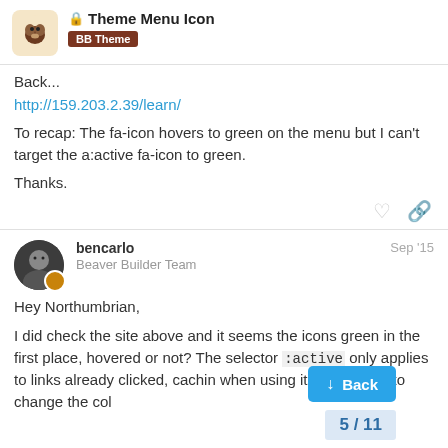Theme Menu Icon — BB Theme
Back...
http://159.203.2.39/learn/
To recap: The fa-icon hovers to green on the menu but I can't target the a:active fa-icon to green.
Thanks.
bencarlo — Beaver Builder Team — Sep '15
Hey Northumbrian,
I did check the site above and it seems the icons green in the first place, hovered or not? The selector :active only applies to links already clicked, cachin when using it. If you want to change the col
5 / 11